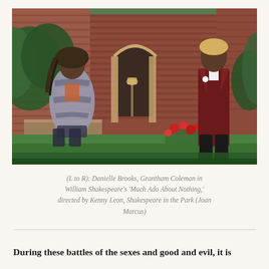[Figure (photo): Two actors on stage in an outdoor theatrical setting with a brick house backdrop, green lawn, and red roses. A woman in a gray patterned wrap sits on a stone ledge on the left, and a man in a dark red/maroon long coat with blonde hair stands on the right.]
(L to R): Danielle Brooks, Grantham Coleman in William Shakespeare's 'Much Ado About Nothing,' directed by Kenny Leon, Shakespeare in the Park (Joan Marcus)
During these battles of the sexes and good and evil, it is